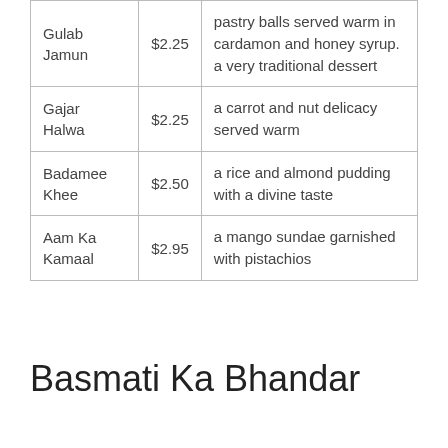|  |  |  |
| --- | --- | --- |
| Gulab Jamun | $2.25 | pastry balls served warm in cardamon and honey syrup. a very traditional dessert |
| Gajar Halwa | $2.25 | a carrot and nut delicacy served warm |
| Badamee Khee | $2.50 | a rice and almond pudding with a divine taste |
| Aam Ka Kamaal | $2.95 | a mango sundae garnished with pistachios |
Basmati Ka Bhandar